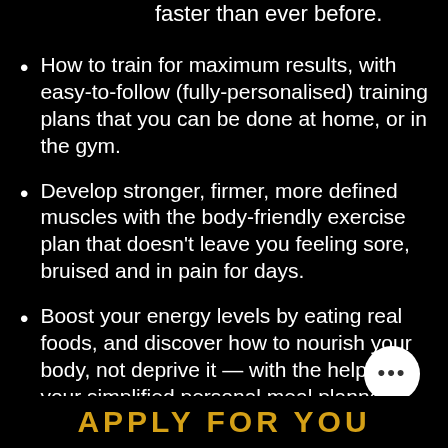faster than ever before.
How to train for maximum results, with easy-to-follow (fully-personalised) training plans that you can be done at home, or in the gym.
Develop stronger, firmer, more defined muscles with the body-friendly exercise plan that doesn't leave you feeling sore, bruised and in pain for days.
Boost your energy levels by eating real foods, and discover how to nourish your body, not deprive it — with the help of your simplified personal meal planner
APPLY FOR YOU